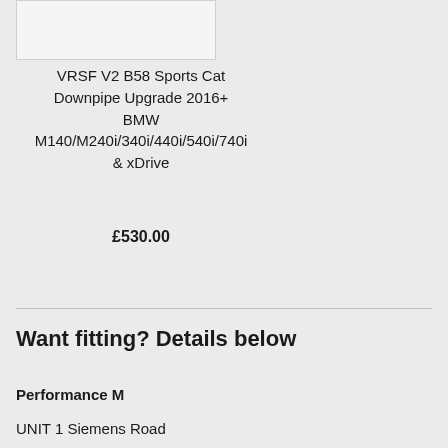[Figure (photo): Product image placeholder box]
VRSF V2 B58 Sports Cat Downpipe Upgrade 2016+ BMW M140/M240i/340i/440i/540i/740i & xDrive
£530.00
Want fitting? Details below
Performance M
UNIT 1 Siemens Road